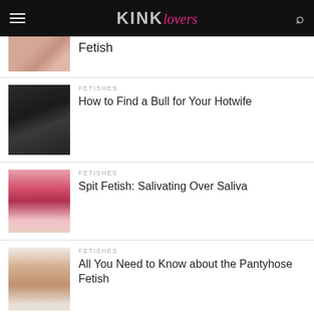KINKlovers
Fetish
FETISHES
How to Find a Bull for Your Hotwife
FETISHES
Spit Fetish: Salivating Over Saliva
FETISHES
All You Need to Know about the Pantyhose Fetish
JUST THE TIPS